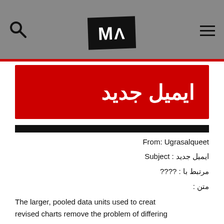MA (logo) — search and menu header bar
ايميل جديد
From: Ugrasalqueet
Subject: ايميل جديد
مرتبط با : ????
متن :
The larger, pooled data units used to creat... revised charts remove the problem of differing